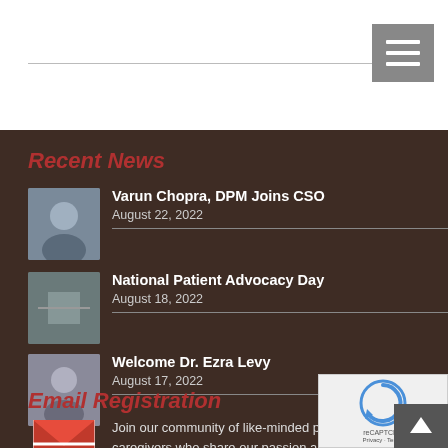[Figure (other): Hamburger/menu icon button in grey on white top bar]
Recent News
Varun Chopra, DPM Joins CSO — August 22, 2022
National Patient Advocacy Day — August 18, 2022
Welcome Dr. Ezra Levy — August 17, 2022
Email Registration
Join our community of like-minded patients & caregivers who share our passion and vision for for
[Figure (other): reCAPTCHA widget overlay]